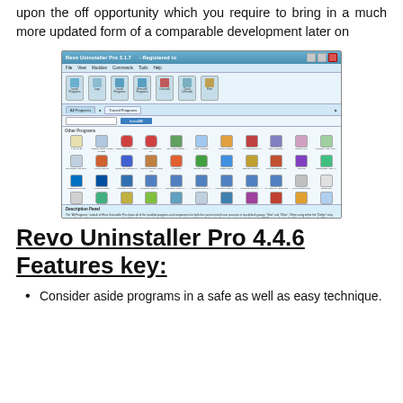upon the off opportunity which you require to bring in a much more updated form of a comparable development later on
[Figure (screenshot): Screenshot of Revo Uninstaller Pro 3.1.7 application window showing program list with many installed application icons in a grid view, with a Description Panel at the bottom.]
Revo Uninstaller Pro 4.4.6 Features key:
Consider aside programs in a safe as well as easy technique.